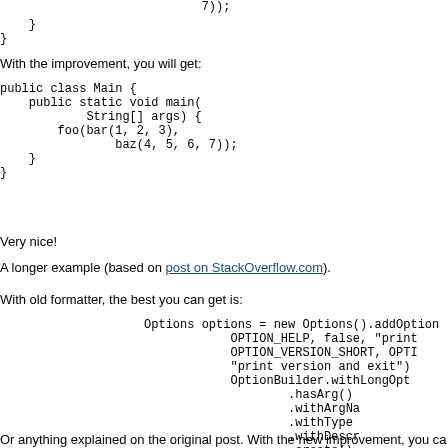7));
}
}
With the improvement, you will get:
public class Main {
    public static void main(
            String[] args) {
        foo(bar(1, 2, 3),
                baz(4, 5, 6, 7));
    }
}
Very nice!
A longer example (based on post on StackOverflow.com).
With old formatter, the best you can get is:
Options options = new Options().addOption
        OPTION_HELP, false, "print
        OPTION_VERSION_SHORT, OPTI
        "print version and exit")
        OptionBuilder.withLongOpt
                .hasArg()
                .withArgNa
                .withType
                .withDescr
                .create()
Or anything explained on the original post. With the new improvement, you ca